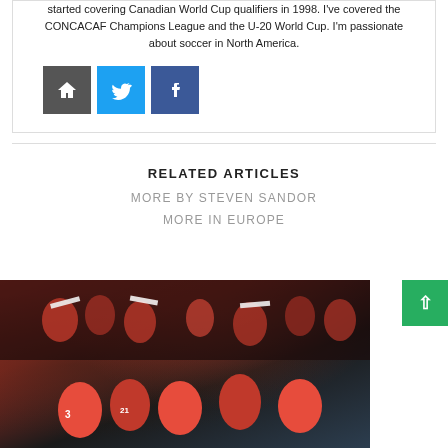started covering Canadian World Cup qualifiers in 1998. I've covered the CONCACAF Champions League and the U-20 World Cup. I'm passionate about soccer in North America.
[Figure (other): Social media icon buttons: home (dark grey), Twitter (blue), Facebook (blue)]
RELATED ARTICLES
MORE BY STEVEN SANDOR
MORE IN EUROPE
[Figure (photo): Soccer players in red uniforms celebrating on the field, with fans in the background wearing red and white scarves]